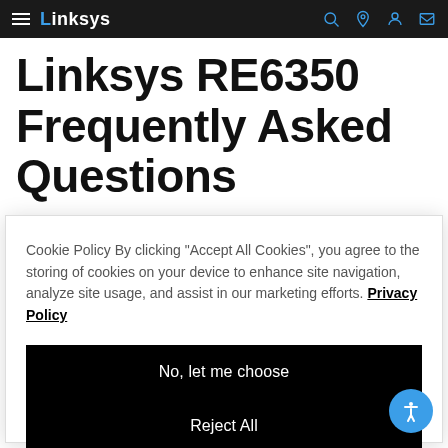Linksys
Linksys RE6350 Frequently Asked Questions
Cookie Policy By clicking "Accept All Cookies", you agree to the storing of cookies on your device to enhance site navigation, analyze site usage, and assist in our marketing efforts. Privacy Policy
No, let me choose
Reject All
Accept All Cookies